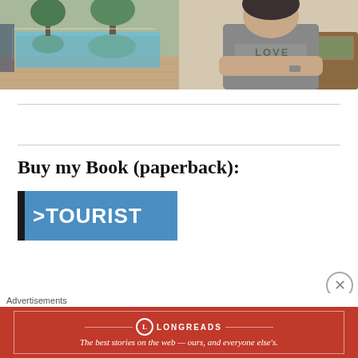[Figure (photo): Two photos side by side: left shows a swimming pool area with tiled floor and reflections of trees; right shows a person in a gray t-shirt with 'LOVE' text sitting in a chair.]
Buy my Book (paperback):
[Figure (illustration): Book cover banner showing '>TOURIST' text in white on a blue background with a black vertical bar on the left.]
Advertisements
[Figure (infographic): Longreads advertisement banner in red: 'The best stories on the web — ours, and everyone else's.']